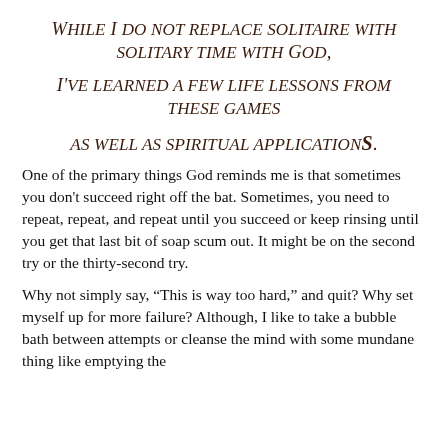While I do not replace solitaire with solitary time with God, I've learned a few life lessons from these games as well as spiritual applications.
One of the primary things God reminds me is that sometimes you don't succeed right off the bat. Sometimes, you need to repeat, repeat, and repeat until you succeed or keep rinsing until you get that last bit of soap scum out. It might be on the second try or the thirty-second try.
Why not simply say, “This is way too hard,” and quit? Why set myself up for more failure? Although, I like to take a bubble bath between attempts or cleanse the mind with some mundane thing like emptying the